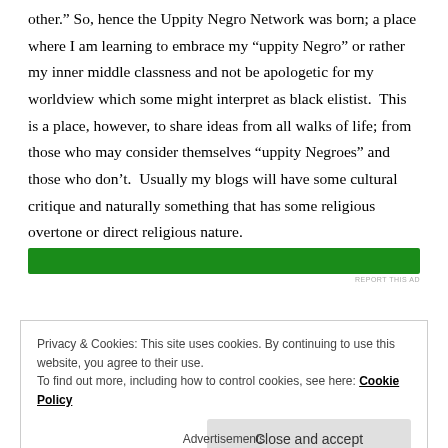other.” So, hence the Uppity Negro Network was born; a place where I am learning to embrace my “uppity Negro” or rather my inner middle classness and not be apologetic for my worldview which some might interpret as black elistist.  This is a place, however, to share ideas from all walks of life; from those who may consider themselves “uppity Negroes” and those who don’t.  Usually my blogs will have some cultural critique and naturally something that has some religious overtone or direct religious nature.
[Figure (other): Green advertisement banner]
Privacy & Cookies: This site uses cookies. By continuing to use this website, you agree to their use.
To find out more, including how to control cookies, see here: Cookie Policy
Close and accept
Advertisements